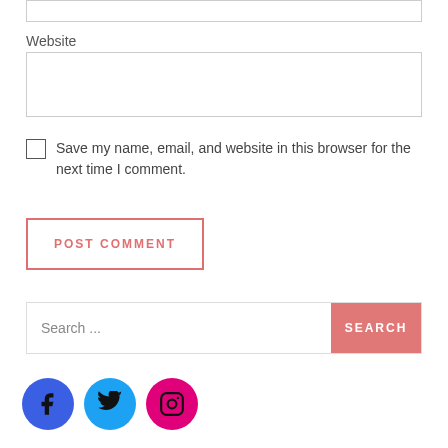Website
Save my name, email, and website in this browser for the next time I comment.
POST COMMENT
Search ...
SEARCH
[Figure (illustration): Three social media icon buttons: Facebook (blue circle), Twitter (light blue circle), Instagram (magenta/pink circle)]